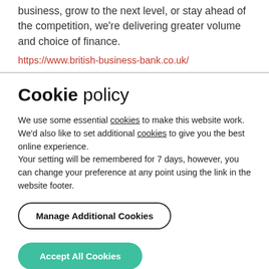business, grow to the next level, or stay ahead of the competition, we're delivering greater volume and choice of finance.
https://www.british-business-bank.co.uk/
Cookie policy
We use some essential cookies to make this website work. We'd also like to set additional cookies to give you the best online experience.
Your setting will be remembered for 7 days, however, you can change your preference at any point using the link in the website footer.
Manage Additional Cookies
Accept All Cookies